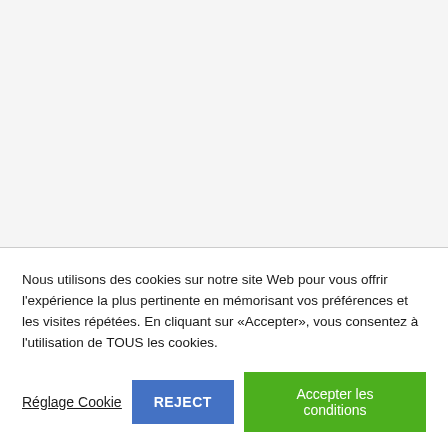Nous utilisons des cookies sur notre site Web pour vous offrir l'expérience la plus pertinente en mémorisant vos préférences et les visites répétées. En cliquant sur «Accepter», vous consentez à l'utilisation de TOUS les cookies.
Réglage Cookie
REJECT
Accepter les conditions